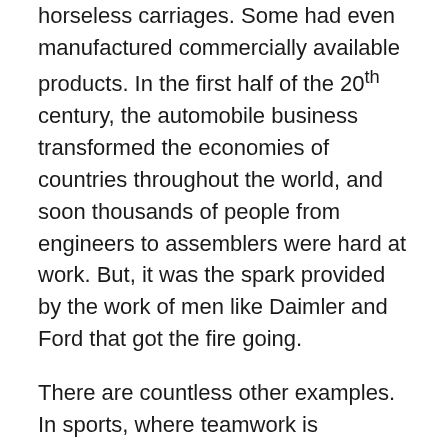horseless carriages. Some had even manufactured commercially available products. In the first half of the 20th century, the automobile business transformed the economies of countries throughout the world, and soon thousands of people from engineers to assemblers were hard at work. But, it was the spark provided by the work of men like Daimler and Ford that got the fire going.
There are countless other examples. In sports, where teamwork is paramount, it is always an individual that gets the team going. Sometimes they are even referred to as the “spark plug” of the team.
I know that when I work together with other, like-minded people more can be done than when I work alone. But, I also know that it takes the spark, and the vision of an individual to initiate the team and to get the ball rolling. This is what makes leaders of people. Providing that